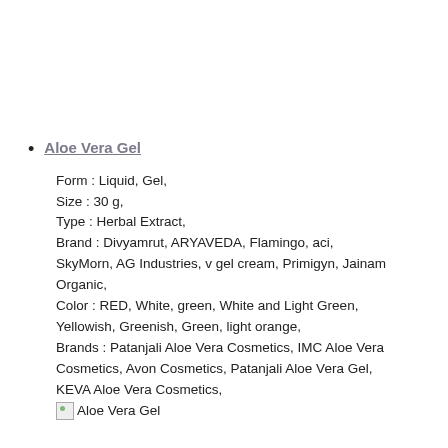Aloe Vera Gel
Form : Liquid, Gel,
Size : 30 g,
Type : Herbal Extract,
Brand : Divyamrut, ARYAVEDA, Flamingo, aci, SkyMorn, AG Industries, v gel cream, Primigyn, Jainam Organic,
Color : RED, White, green, White and Light Green, Yellowish, Greenish, Green, light orange,
Brands : Patanjali Aloe Vera Cosmetics, IMC Aloe Vera Cosmetics, Avon Cosmetics, Patanjali Aloe Vera Gel, KEVA Aloe Vera Cosmetics,
[image] Aloe Vera Gel